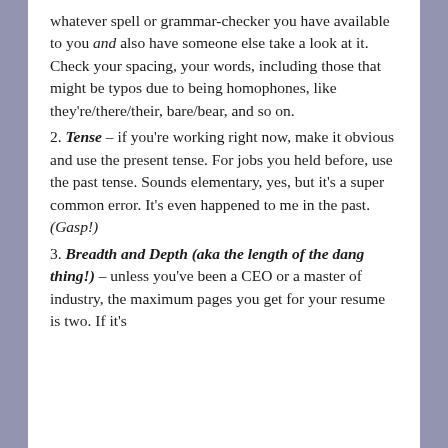whatever spell or grammar-checker you have available to you and also have someone else take a look at it. Check your spacing, your words, including those that might be typos due to being homophones, like they're/there/their, bare/bear, and so on.
2. Tense – if you're working right now, make it obvious and use the present tense. For jobs you held before, use the past tense. Sounds elementary, yes, but it's a super common error. It's even happened to me in the past. (Gasp!)
3. Breadth and Depth (aka the length of the dang thing!) – unless you've been a CEO or a master of industry, the maximum pages you get for your resume is two. If it's